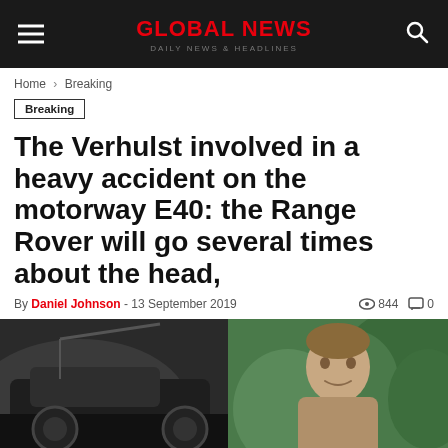GLOBAL NEWS | DAILY NEWS & HEADLINES
Home › Breaking
Breaking
The Verhulst involved in a heavy accident on the motorway E40: the Range Rover will go several times about the head,
By Daniel Johnson - 13 September 2019  👁 844  💬 0
[Figure (photo): Split image: left side shows a damaged black car (Range Rover) in what appears to be a garage or aftermath scene; right side shows a young man with short hair against a green plant background.]